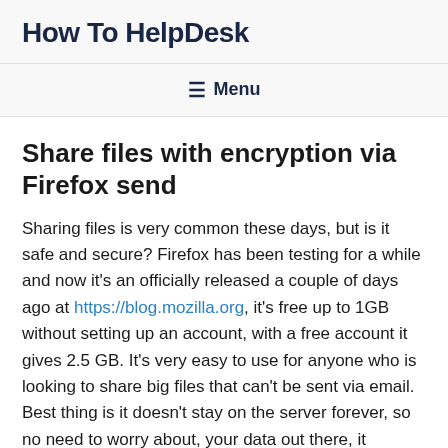How To HelpDesk
≡ Menu
Share files with encryption via Firefox send
Sharing files is very common these days, but is it safe and secure? Firefox has been testing for a while and now it's an officially released a couple of days ago at https://blog.mozilla.org, it's free up to 1GB without setting up an account, with a free account it gives 2.5 GB. It's very easy to use for anyone who is looking to share big files that can't be sent via email. Best thing is it doesn't stay on the server forever, so no need to worry about, your data out there, it automatically generates a link and you choose how long it should stay shared then deletes it automatically. It's a free encrypted file transfer service that allows users to